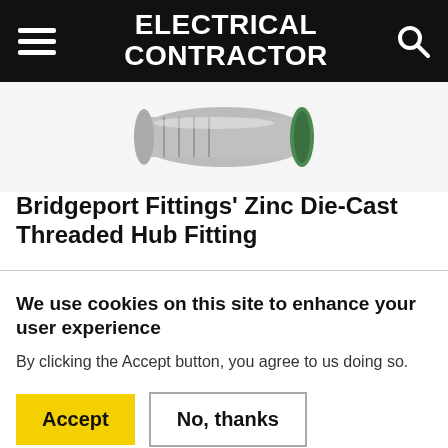ELECTRICAL CONTRACTOR
[Figure (photo): Close-up photo of Bridgeport Fittings zinc die-cast threaded hub fitting, showing metallic connector with green ring on white/grey background]
Bridgeport Fittings' Zinc Die-Cast Threaded Hub Fitting
We use cookies on this site to enhance your user experience
By clicking the Accept button, you agree to us doing so.
Accept   No, thanks